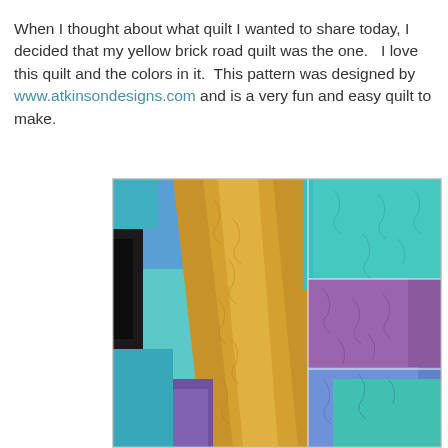When I thought about what quilt I wanted to share today, I decided that my yellow brick road quilt was the one.  I love this quilt and the colors in it.  This pattern was designed by www.atkinsondesigns.com and is a very fun and easy quilt to make.
[Figure (photo): Close-up photo of a colorful patchwork quilt featuring yellow/gold, teal/turquoise, purple, and blue fabric squares with a swirling quilting pattern stitched throughout.]